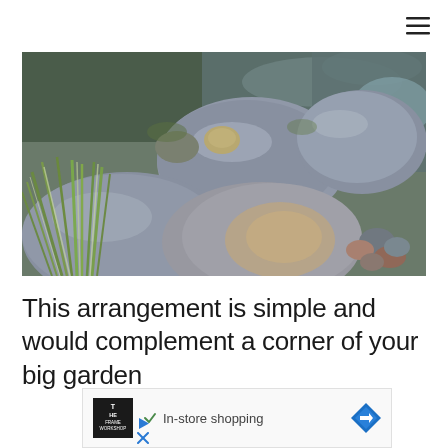≡
[Figure (photo): Photograph of large smooth grey rocks and boulders in a garden or stream setting, with green ornamental grass (variegated) on the left side and water visible in the background and right side. Smaller colorful pebbles visible in the lower right.]
This arrangement is simple and would complement a corner of your big garden
[Figure (screenshot): Advertisement banner showing The Frame Workshop logo (black square with white text 'THE FRAME WORKSHOP'), a checkmark icon with text 'In-store shopping', and a blue diamond-shaped navigation/directions icon on the right. Below the ad are small play and close/X control icons.]